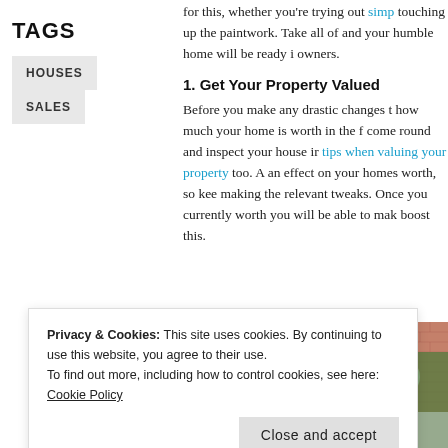TAGS
HOUSES
SALES
for this, whether you're trying out simp touching up the paintwork. Take all of and your humble home will be ready i owners.
1. Get Your Property Valued
Before you make any drastic changes t how much your home is worth in the f come round and inspect your house ir tips when valuing your property too. A an effect on your homes worth, so kee making the relevant tweaks. Once you currently worth you will be able to mak boost this.
[Figure (photo): A brick house exterior with white door/portico and greenery]
Privacy & Cookies: This site uses cookies. By continuing to use this website, you agree to their use.
To find out more, including how to control cookies, see here: Cookie Policy
Close and accept